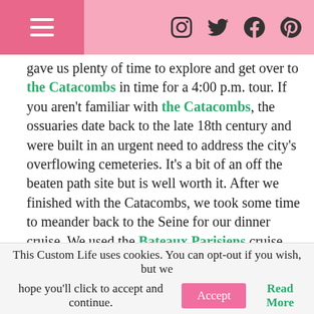[Hamburger menu] [Instagram] [Twitter] [Facebook] [Pinterest]
gave us plenty of time to explore and get over to the Catacombs in time for a 4:00 p.m. tour. If you aren't familiar with the Catacombs, the ossuaries date back to the late 18th century and were built in an urgent need to address the city's overflowing cemeteries. It's a bit of an off the beaten path site but is well worth it. After we finished with the Catacombs, we took some time to meander back to the Seine for our dinner cruise. We used the Bateaux Parisiens cruise line and splurged for a window table at the front of the boat.
KEY TIP: I recommend reserving time at the Eiffel Tower. This will allow you to get in with very little wait
This Custom Life uses cookies. You can opt-out if you wish, but we hope you'll click to accept and continue.